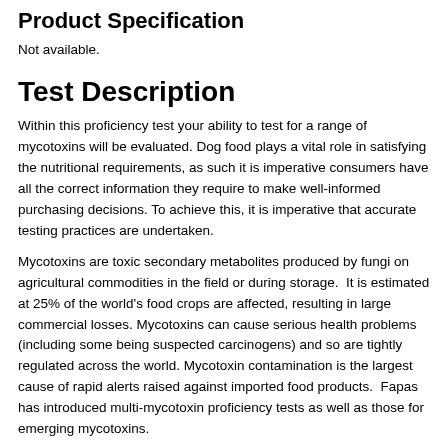Product Specification
Not available.
Test Description
Within this proficiency test your ability to test for a range of mycotoxins will be evaluated. Dog food plays a vital role in satisfying the nutritional requirements, as such it is imperative consumers have all the correct information they require to make well-informed purchasing decisions. To achieve this, it is imperative that accurate testing practices are undertaken.
Mycotoxins are toxic secondary metabolites produced by fungi on agricultural commodities in the field or during storage.  It is estimated at 25% of the world's food crops are affected, resulting in large commercial losses. Mycotoxins can cause serious health problems (including some being suspected carcinogens) and so are tightly regulated across the world. Mycotoxin contamination is the largest cause of rapid alerts raised against imported food products.  Fapas has introduced multi-mycotoxin proficiency tests as well as those for emerging mycotoxins.
Multi-Mycotoxin testing is required to provide high quality produce